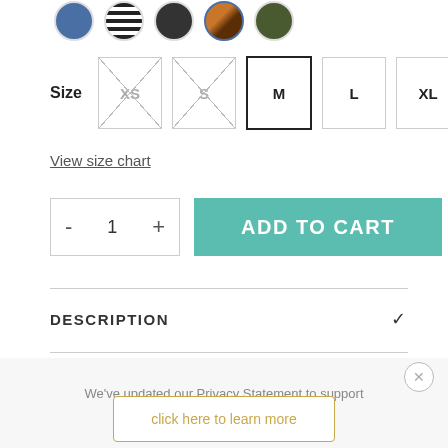[Figure (screenshot): Color swatch circles at top: blue, stripe, dark, pattern, olive]
Size  XS  S  M  L  XL
View size chart
- 1 +  ADD TO CART
DESCRIPTION
We've updated our Privacy Statement to support new EU data protection laws.
click here to learn more